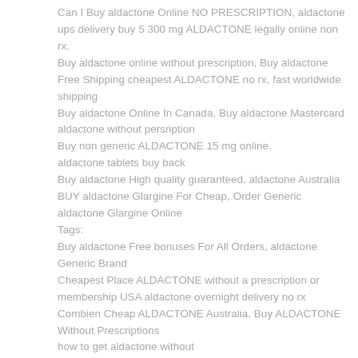Can I Buy aldactone Online NO PRESCRIPTION, aldactone ups delivery buy 5 300 mg ALDACTONE legally online non rx.
Buy aldactone online without prescription, Buy aldactone Free Shipping cheapest ALDACTONE no rx, fast worldwide shipping
Buy aldactone Online In Canada, Buy aldactone Mastercard aldactone without persription
Buy non generic ALDACTONE 15 mg online.
aldactone tablets buy back
Buy aldactone High quality guaranteed, aldactone Australia
BUY aldactone Glargine For Cheap, Order Generic aldactone Glargine Online
Tags:
Buy aldactone Free bonuses For All Orders, aldactone Generic Brand
Cheapest Place ALDACTONE without a prescription or membership USA aldactone overnight delivery no rx
Combien Cheap ALDACTONE Australia. Buy ALDACTONE Without Prescriptions
how to get aldactone without
Buy ALDACTONE Online — low cost generic ALDACTONE
cheap aldactone for sale with no prescription required
Order aldactone online canada
Order Cheap aldactone WITHOUT PRESCRIPTION | aldactone, Buy aldactone
buy aldactone online canadian no script
buy aldactone from a usa pharmacy without a prescription
mail order ALDACTONE NO PRESCRIPTIONs needed